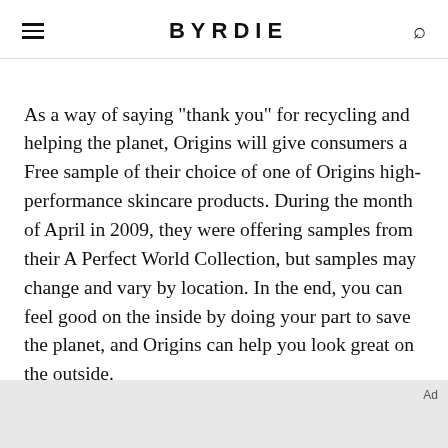BYRDIE
As a way of saying "thank you" for recycling and helping the planet, Origins will give consumers a Free sample of their choice of one of Origins high-performance skincare products. During the month of April in 2009, they were offering samples from their A Perfect World Collection, but samples may change and vary by location. In the end, you can feel good on the inside by doing your part to save the planet, and Origins can help you look great on the outside.
Ad